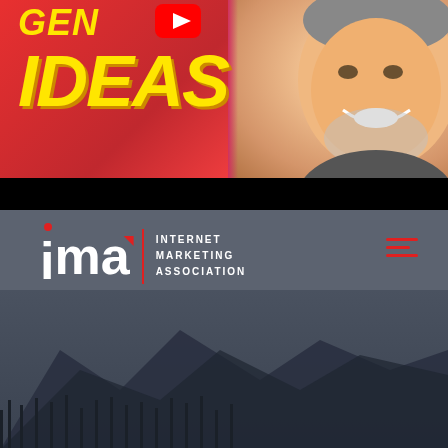[Figure (illustration): Top banner with bright red/pink gradient background showing the word 'IDEAS' in large bold yellow italic text, with partial text above it (partially cut off), a YouTube play button icon, and a smiling middle-aged man with white stubble beard on the right side]
[Figure (screenshot): Bottom section showing the IMA (Internet Marketing Association) website header on a dark grey background. Logo shows lowercase 'ima' letters in white with a red dot above the 'i' and a red corner accent on the 'a', next to a vertical red line separator and the text 'INTERNET MARKETING ASSOCIATION'. A red hamburger menu icon is on the right. Below is a dimly visible mountain landscape photo.]